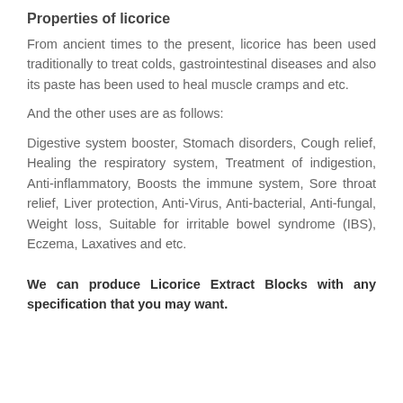Properties of licorice
From ancient times to the present, licorice has been used traditionally to treat colds, gastrointestinal diseases and also its paste has been used to heal muscle cramps and etc.
And the other uses are as follows:
Digestive system booster, Stomach disorders, Cough relief, Healing the respiratory system, Treatment of indigestion, Anti-inflammatory, Boosts the immune system, Sore throat relief, Liver protection, Anti-Virus, Anti-bacterial, Anti-fungal, Weight loss, Suitable for irritable bowel syndrome (IBS), Eczema, Laxatives and etc.
We can produce Licorice Extract Blocks with any specification that you may want.